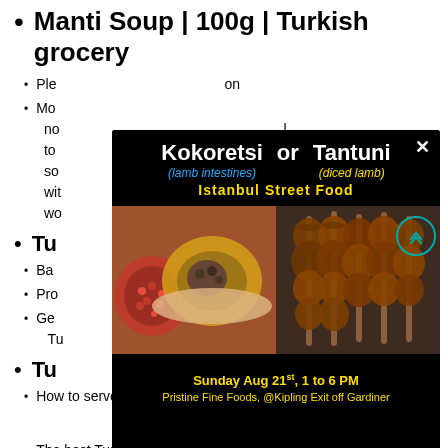Manti Soup | 100g | Turkish grocery
Please note... on
Manti noodle... tomato... soup... with... would...
Turkish...
Ba...
Pro...
Get... Turkish...
Tu...
How to serve Turkish manti
The best Turkish traditional manti recipe
[Figure (infographic): Modal popup overlay showing Istanbul Street Food event with two Turkish dishes: Kokoretsi (lamb intestines) and Tantuni (diced lamb). Features food photos, Sunday Aug 21st 1 to 6 PM, Pristine Fine Foods @Kipling Exit off Gardiner]